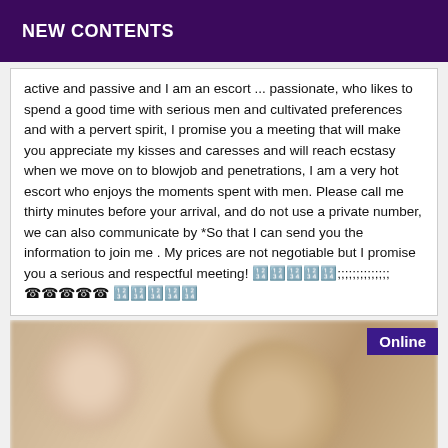NEW CONTENTS
active and passive and I am an escort ... passionate, who likes to spend a good time with serious men and cultivated preferences and with a pervert spirit, I promise you a meeting that will make you appreciate my kisses and caresses and will reach ecstasy when we move on to blowjob and penetrations, I am a very hot escort who enjoys the moments spent with men. Please call me thirty minutes before your arrival, and do not use a private number, we can also communicate by *So that I can send you the information to join me . My prices are not negotiable but I promise you a serious and respectful meeting! 🔢🔢🔢🔢🔢;;;;;;;;;;;;;; ☎☎☎☎☎ 🔢🔢🔢🔢🔢
[Figure (photo): Blurred photo of two people with brown/auburn hair, viewed from behind or side. An 'Online' badge appears in the upper right corner on a dark purple background.]